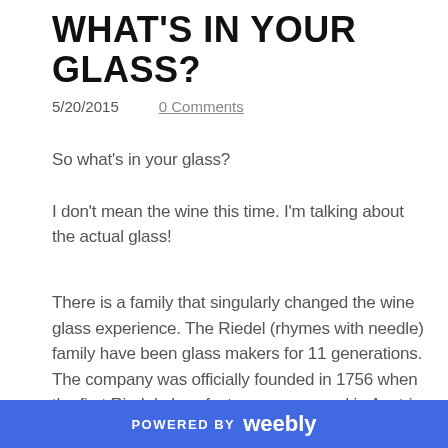WHAT'S IN YOUR GLASS?
5/20/2015    0 Comments
So what's in your glass?
I don't mean the wine this time. I'm talking about the actual glass!
There is a family that singularly changed the wine glass experience. The Riedel (rhymes with needle) family have been glass makers for 11 generations. The company was officially founded in 1756 when the first Riedel glass factory was opened in Austria by Johann Christoph Riedel.  Their business was mostly comprised of making windowpanes  and
POWERED BY weebly